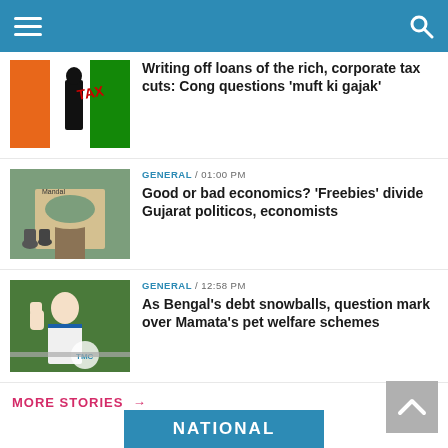Navigation bar with hamburger menu and search icon
[Figure (photo): Thumbnail image with Indian political flags and a person silhouette with TAX text]
Writing off loans of the rich, corporate tax cuts: Cong questions 'muft ki gajak'
GENERAL / 01:00 PM
[Figure (photo): Thumbnail image of people gathered outside Mandal building entrance]
Good or bad economics? 'Freebies' divide Gujarat politicos, economists
GENERAL / 12:58 PM
[Figure (photo): Thumbnail image of Mamata Banerjee raising her fist at a rally]
As Bengal's debt snowballs, question mark over Mamata's pet welfare schemes
MORE STORIES →
NATIONAL